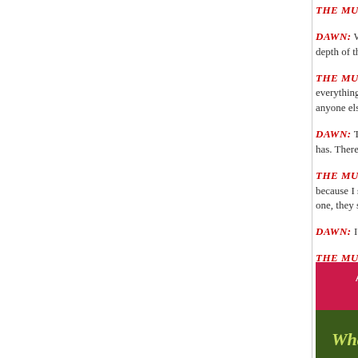THE MULE: [text cut off]
DAWN: Well, [text cut off] depth of that [text cut off]
THE MULE: [text cut off] everything to [text cut off] anyone else d [text cut off]
DAWN: That' [text cut off] has. There ar [text cut off]
THE MULE: [text cut off] because I sp [text cut off] one, they sai [text cut off]
DAWN: I'd ha [text cut off]
THE MULE: [text cut off] MARY ANN D [text cut off]
[Figure (photo): Book cover with pink/red background showing text 'A GUIDE' and cursive text 'What wo...' on a green lower section]